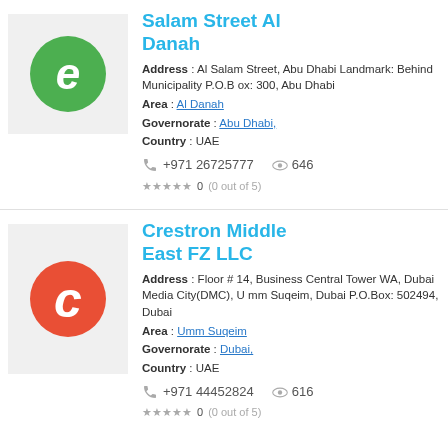[Figure (logo): Green circular logo with white cursive letter on grey background]
Salam Street Al Danah
Address : Al Salam Street, Abu Dhabi Landmark: Behind Municipality P.O.Box: 300, Abu Dhabi
Area : Al Danah
Governorate : Abu Dhabi,
Country : UAE
+971 26725777  646
0  (0 out of 5)
[Figure (logo): Red circle with white letter C on grey background — Crestron logo]
Crestron Middle East FZ LLC
Address : Floor # 14, Business Central Tower WA, Dubai Media City(DMC), Umm Suqeim, Dubai P.O.Box: 502494, Dubai
Area : Umm Suqeim
Governorate : Dubai,
Country : UAE
+971 44452824  616
0  (0 out of 5)